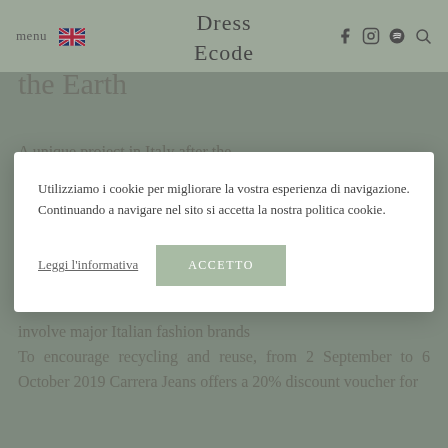menu  [flag]  Dress Ecode  f  instagram  spotify  search
the Earth
A unique project in Italy after the
Utilizziamo i cookie per migliorare la vostra esperienza di navigazione. Continuando a navigare nel sito si accetta la nostra politica cookie.
Leggi l'informativa   ACCETTO
involve major Italian fashion brands
To encourage recycling and reuse, from 2 September to 6 October 2019 Carrera Jeans offers a 20% discount voucher for